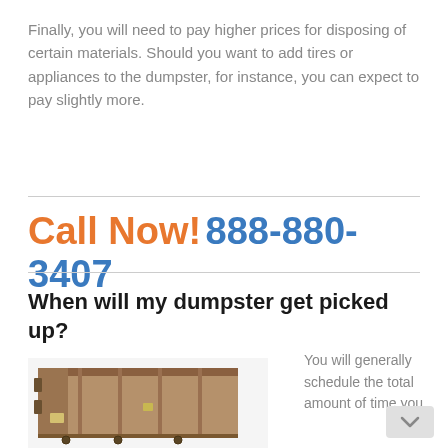Finally, you will need to pay higher prices for disposing of certain materials. Should you want to add tires or appliances to the dumpster, for instance, you can expect to pay slightly more.
Call Now! 888-880-3407
When will my dumpster get picked up?
[Figure (photo): Photo of a large roll-off dumpster container, brown/tan colored metal, viewed from a slight angle showing the front and side.]
You will generally schedule the total amount of time you